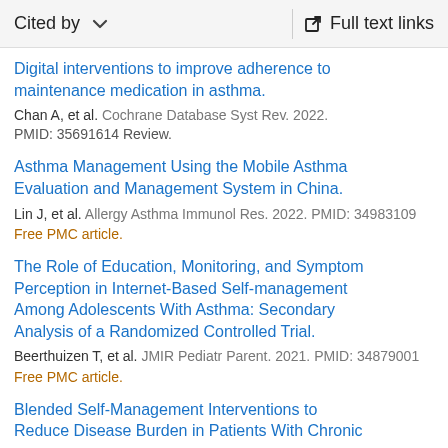Cited by   ∨   Full text links
Digital interventions to improve adherence to maintenance medication in asthma.
Chan A, et al. Cochrane Database Syst Rev. 2022.
PMID: 35691614 Review.
Asthma Management Using the Mobile Asthma Evaluation and Management System in China.
Lin J, et al. Allergy Asthma Immunol Res. 2022. PMID: 34983109
Free PMC article.
The Role of Education, Monitoring, and Symptom Perception in Internet-Based Self-management Among Adolescents With Asthma: Secondary Analysis of a Randomized Controlled Trial.
Beerthuizen T, et al. JMIR Pediatr Parent. 2021. PMID: 34879001
Free PMC article.
Blended Self-Management Interventions to Reduce Disease Burden in Patients With Chronic...